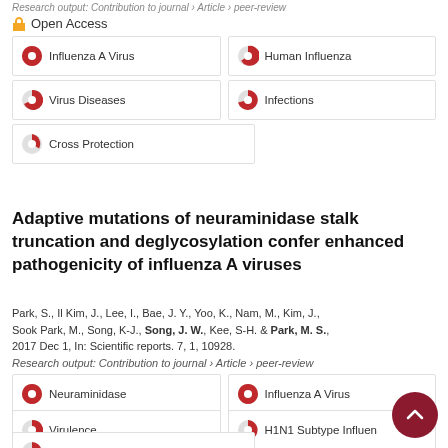Research output: Contribution to journal › Article › peer-review
Open Access
[Figure (infographic): Keyword tag: Influenza A Virus with ~100% red pie icon]
[Figure (infographic): Keyword tag: Human Influenza with ~75% red pie icon]
[Figure (infographic): Keyword tag: Virus Diseases with ~80% red pie icon]
[Figure (infographic): Keyword tag: Infections with ~60% red pie icon]
[Figure (infographic): Keyword tag: Cross Protection with ~25% red pie icon]
Adaptive mutations of neuraminidase stalk truncation and deglycosylation confer enhanced pathogenicity of influenza A viruses
Park, S., Il Kim, J., Lee, I., Bae, J. Y., Yoo, K., Nam, M., Kim, J., Sook Park, M., Song, K-J., Song, J. W., Kee, S-H. & Park, M. S., 2017 Dec 1, In: Scientific reports. 7, 1, 10928.
Research output: Contribution to journal › Article › peer-review
[Figure (infographic): Keyword tag: Neuraminidase with ~100% red pie icon]
[Figure (infographic): Keyword tag: Influenza A Virus with ~100% red pie icon]
[Figure (infographic): Keyword tag: Virulence with ~80% red pie icon]
[Figure (infographic): Keyword tag: H1N1 Subtype Influen... with ~55% red pie icon]
[Figure (infographic): Keyword tag: Mutation with ~65% red pie icon]